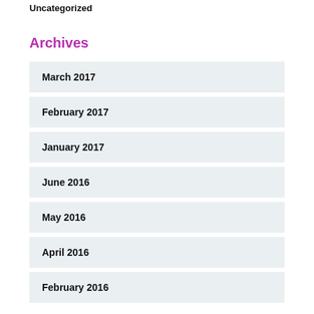Uncategorized
Archives
March 2017
February 2017
January 2017
June 2016
May 2016
April 2016
February 2016